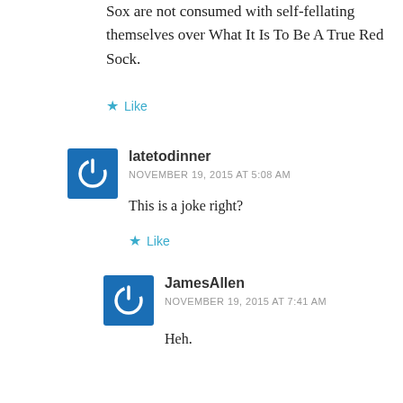Sox are not consumed with self-fellating themselves over What It Is To Be A True Red Sock.
Like
latetodinner
NOVEMBER 19, 2015 AT 5:08 AM
This is a joke right?
Like
[Figure (illustration): Blue square avatar with white power button icon]
JamesAllen
NOVEMBER 19, 2015 AT 7:41 AM
Heh.